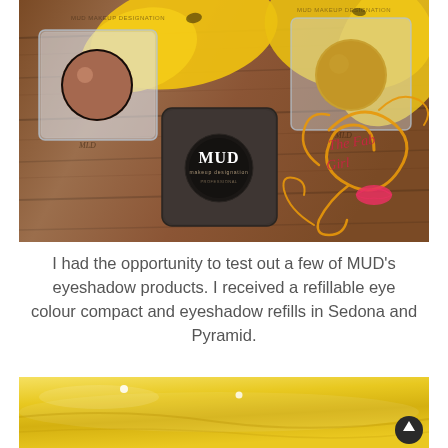[Figure (photo): MUD makeup eyeshadow products on a wooden surface. Two open compact refills (one salmon/rose color labeled Sedona, one golden color labeled Pyramid) and one closed MUD branded compact, surrounded by yellow fabric flowers. Decorative swirl graphics and 'The Fab Girl' text in red overlay on the right side.]
I had the opportunity to test out a few of MUD's eyeshadow products. I received a refillable eye colour compact and eyeshadow refills in Sedona and Pyramid.
[Figure (photo): Close-up of yellow fabric or flower petals with glossy sheen and light reflections, with a circular scroll-to-top button in the bottom right corner.]